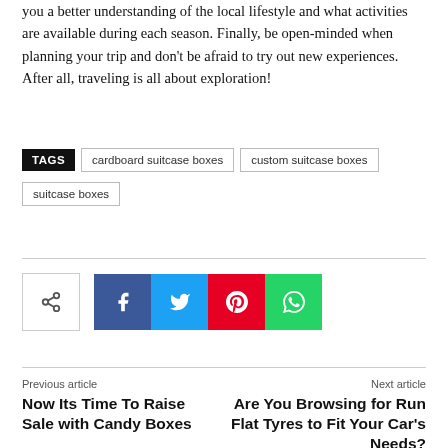you a better understanding of the local lifestyle and what activities are available during each season. Finally, be open-minded when planning your trip and don't be afraid to try out new experiences. After all, traveling is all about exploration!
TAGS   cardboard suitcase boxes   custom suitcase boxes   suitcase boxes
[Figure (infographic): Social share button row: share icon button, Facebook (blue), Twitter (cyan), Pinterest (red), WhatsApp (green)]
Previous article
Now Its Time To Raise Sale with Candy Boxes
Next article
Are You Browsing for Run Flat Tyres to Fit Your Car's Needs?